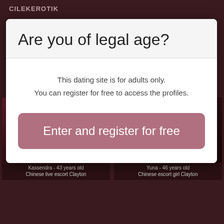CILEKEROTIK
Are you of legal age?
This dating site is for adults only. You can register for free to access the profiles.
Enter and register for free
Kassendra - 43 years old
Chinese live escort Clayton
Yuna - 46 years old
Chinese escort girl Clayton